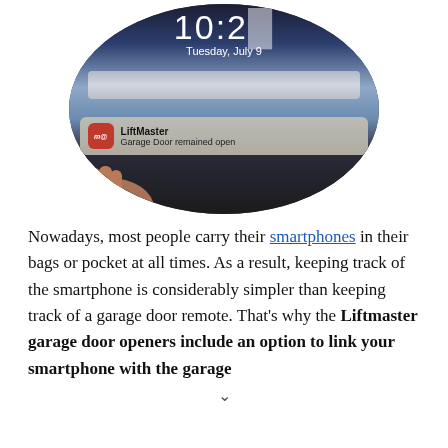[Figure (photo): A hand holding a smartphone showing a lock screen with time '10:2...' and date 'Tuesday, July 9', with a LiftMaster notification reading 'Garage Door remained open'. The image is cropped in an oval/circle shape.]
Nowadays, most people carry their smartphones in their bags or pocket at all times. As a result, keeping track of the smartphone is considerably simpler than keeping track of a garage door remote. That's why the Liftmaster garage door openers include an option to link your smartphone with the garage